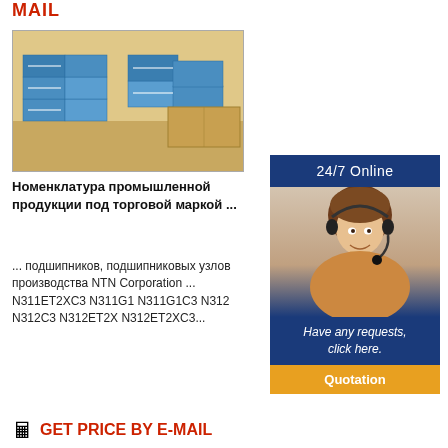MAIL
[Figure (photo): Stacked blue product boxes on cardboard, warehouse setting]
Номенклатура промышленной продукции под торговой маркой ...
... подшипников, подшипниковых узлов производства NTN Corporation ... N311ET2XC3 N311G1 N311G1C3 N312 N312C3 N312ET2X N312ET2XC3...
[Figure (infographic): 24/7 Online support panel with agent photo, 'Have any requests, click here.' text, and Quotation button]
🖩 GET PRICE BY E-MAIL